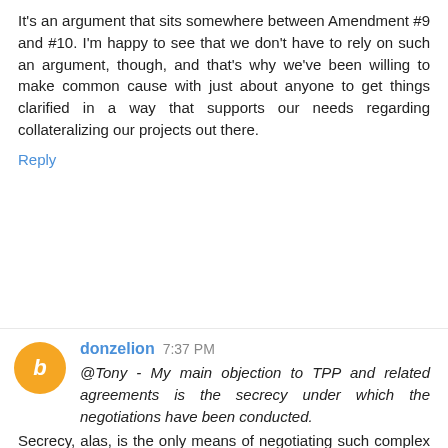It's an argument that sits somewhere between Amendment #9 and #10. I'm happy to see that we don't have to rely on such an argument, though, and that's why we've been willing to make common cause with just about anyone to get things clarified in a way that supports our needs regarding collateralizing our projects out there.
Reply
donzelion 7:37 PM
@Tony - My main objection to TPP and related agreements is the secrecy under which the negotiations have been conducted.
Secrecy, alas, is the only means of negotiating such complex arrangements. Such was the case with the U.S. Constitution, and remains the case with most similar large agreements requiring numerous compromises. In any negotiations, one party has to test the other positions to extract the best deal possible. Such tests would be impossible if you were being attacked by people in your own country looking for a way to extract a special benefit